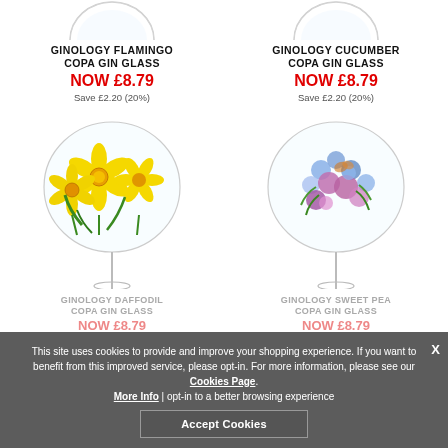[Figure (illustration): Partial top view of two gin glass images (Flamingo and Cucumber) at top of page]
GINOLOGY FLAMINGO COPA GIN GLASS
NOW £8.79
Save £2.20 (20%)
GINOLOGY CUCUMBER COPA GIN GLASS
NOW £8.79
Save £2.20 (20%)
[Figure (illustration): Copa gin glass with yellow daffodil flower illustration on the bowl]
[Figure (illustration): Copa gin glass with purple/blue sweet pea flower illustration on the bowl]
GINOLOGY DAFFODIL COPA GIN GLASS
NOW £8.79
GINOLOGY SWEET PEA COPA GIN GLASS
NOW £8.79
This site uses cookies to provide and improve your shopping experience. If you want to benefit from this improved service, please opt-in. For more information, please see our Cookies Page. More Info | opt-in to a better browsing experience
Accept Cookies